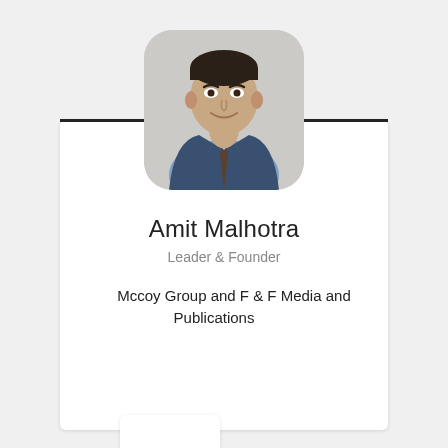[Figure (photo): Profile photo of Amit Malhotra, a man in a blue suit and tie, displayed in a rounded rectangle frame]
Amit Malhotra
Leader & Founder
Mccoy Group and F & F Media and Publications